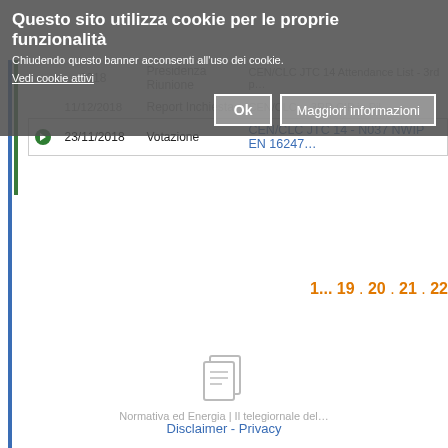Questo sito utilizza cookie per le proprie funzionalità
Chiudendo questo banner acconsenti all'uso dei cookie.
Vedi cookie attivi
|  | Data | Tipo | Documento |
| --- | --- | --- | --- |
|  | …/2018 | Presidenza Riunione | CEN/CLC JTC 14 Attendance List - 3rd p… |
|  | 11/12/2018 | Report Inchiesta | CEN/CLC … 3RD CIP in Pil… |
| ● | 23/11/2018 | Votazione | CEN/CLC JTC 14 - N037 NWIP EN 16247… |
1... 19 . 20 . 21 . 22
Normativa ed Energia | Il telegiornale del…
Disclaimer - Privacy